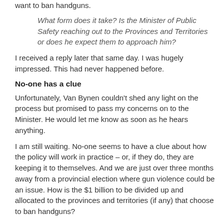want to ban handguns.
What form does it take? Is the Minister of Public Safety reaching out to the Provinces and Territories or does he expect them to approach him?
I received a reply later that same day. I was hugely impressed. This had never happened before.
No-one has a clue
Unfortunately, Van Bynen couldn't shed any light on the process but promised to pass my concerns on to the Minister. He would let me know as soon as he hears anything.
I am still waiting. No-one seems to have a clue about how the policy will work in practice – or, if they do, they are keeping it to themselves. And we are just over three months away from a provincial election where gun violence could be an issue. How is the $1 billion to be divided up and allocated to the provinces and territories (if any) that choose to ban handguns?
Personally, I can't help feeling we are being failed by our politicians.
What will it take to bring in a handgun ban?
Another Portapique?
mrgordonprentice@icloud.com